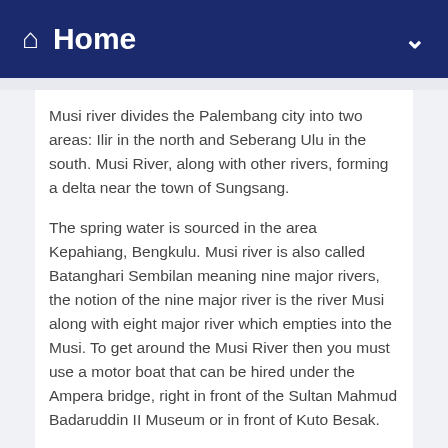Home
Musi river divides the Palembang city into two areas: Ilir in the north and Seberang Ulu in the south. Musi River, along with other rivers, forming a delta near the town of Sungsang.
The spring water is sourced in the area Kepahiang, Bengkulu. Musi river is also called Batanghari Sembilan meaning nine major rivers, the notion of the nine major river is the river Musi along with eight major river which empties into the Musi. To get around the Musi River then you must use a motor boat that can be hired under the Ampera bridge, right in front of the Sultan Mahmud Badaruddin II Museum or in front of Kuto Besak.
There are several types of motor boats such as speed boat, ketek, and small boats. The price ranges between Rp20.000,00 - 100,000.00. Musi river divides Palembang city into two areas: Ilir in the north and Seberang Ulu in the south. Musi River, along with other rivers, forming a delta near the town of Sungsang.